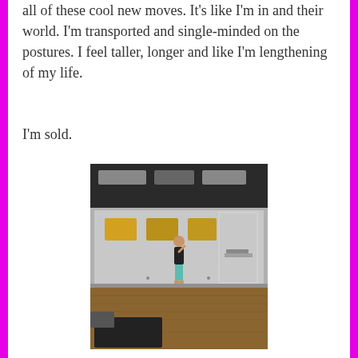all of these cool new moves. It's like I'm in and their world. I'm transported and single-minded on the postures. I feel taller, longer and like I'm lengthening of my life.
I'm sold.
[Figure (photo): A photo of a person standing in what appears to be a dance or yoga studio with mirrored walls, hardwood floors, and ceiling lights. The person is wearing dark top and teal/mint leggings, standing in the center of the room.]